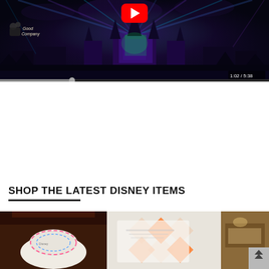[Figure (screenshot): YouTube video thumbnail showing Disneyland/Magic Kingdom castle at night with colorful light show projections in purple, blue, and green. A red YouTube play button is visible at the top center. 'Good Company' logo text is visible in the upper left.]
SHOP THE LATEST DISNEY ITEMS
[Figure (photo): Product image strip showing Disney merchandise items including what appears to be a decorated cake/hat on the left, an orange and white diamond pattern bag/item in the center, and a person/scene on the right.]